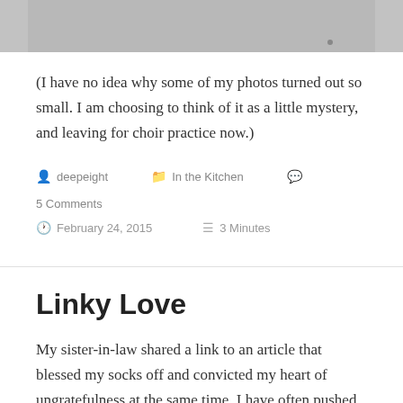[Figure (photo): Partial photo at top of page, showing a light gray/white surface, cropped at bottom]
(I have no idea why some of my photos turned out so small. I am choosing to think of it as a little mystery, and leaving for choir practice now.)
deepeight   In the Kitchen   5 Comments
February 24, 2015   3 Minutes
Linky Love
My sister-in-law shared a link to an article that blessed my socks off and convicted my heart of ungratefulness at the same time. I have often pushed aside the thought that…